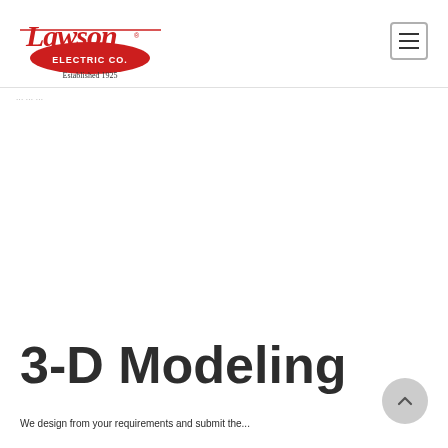[Figure (logo): Lawson Electric Co. logo — red cursive 'Lawson' lettering over 'ELECTRIC CO.' in a red oval badge, with 'Established 1925' below in black serif text]
...
3-D Modeling
We design from your requirements and submit the...